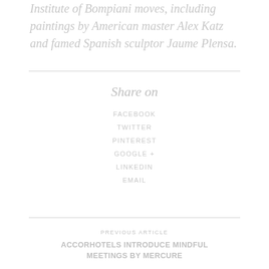Institute of Bompiani moves, including paintings by American master Alex Katz and famed Spanish sculptor Jaume Plensa.
Share on
FACEBOOK
TWITTER
PINTEREST
GOOGLE +
LINKEDIN
EMAIL
PREVIOUS ARTICLE
ACCORHOTELS INTRODUCE MINDFUL MEETINGS BY MERCURE